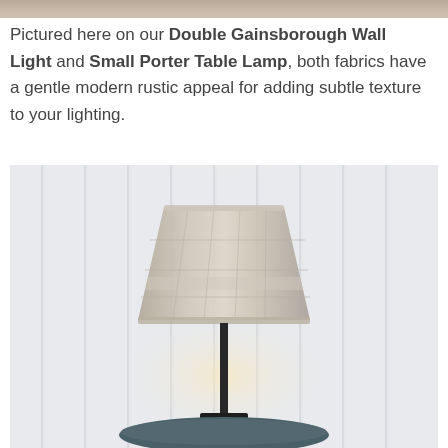[Figure (photo): Partial top strip showing a fabric texture image at the very top of the page]
Pictured here on our Double Gainsborough Wall Light and Small Porter Table Lamp, both fabrics have a gentle modern rustic appeal for adding subtle texture to your lighting.
[Figure (photo): A table lamp with a grey/beige checked fabric lampshade on a dark metal stand, placed on a small round dark teal table. The lamp is lit, casting a warm glow. The background is a white paneled wall.]